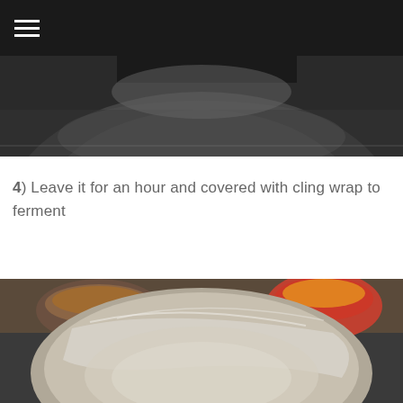☰
[Figure (photo): Top portion of a bowl or pan with food mixture, partially visible, dark background]
4) Leave it for an hour and covered with cling wrap to ferment
[Figure (photo): A bowl or plate covered with cling wrap/plastic wrap showing dough fermenting inside, with bowls of spices and shredded cheese visible in the background]